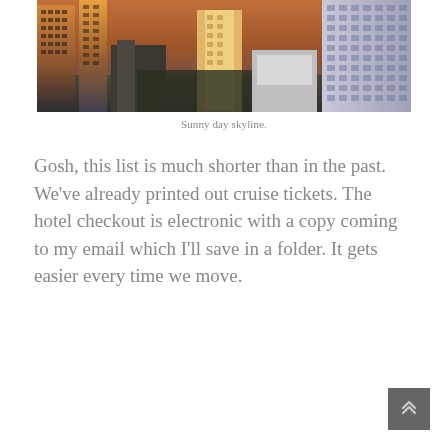[Figure (photo): Aerial cityscape photo showing a sunny day skyline with tall buildings and warm golden light reflecting off some structures.]
Sunny day skyline.
Gosh, this list is much shorter than in the past. We've already printed out cruise tickets. The hotel checkout is electronic with a copy coming to my email which I'll save in a folder. It gets easier every time we move.